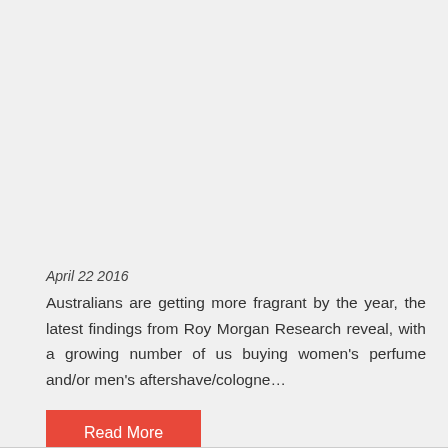April 22 2016
Australians are getting more fragrant by the year, the latest findings from Roy Morgan Research reveal, with a growing number of us buying women's perfume and/or men's aftershave/cologne…
Read More